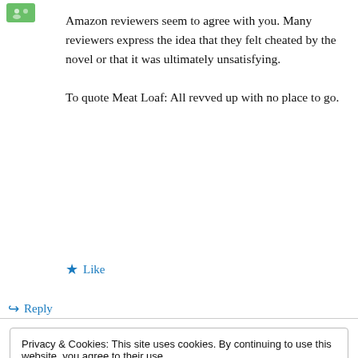Amazon reviewers seem to agree with you. Many reviewers express the idea that they felt cheated by the novel or that it was ultimately unsatisfying.
To quote Meat Loaf: All revved up with no place to go.
★ Like
↪ Reply
Privacy & Cookies: This site uses cookies. By continuing to use this website, you agree to their use.
To find out more, including how to control cookies, see here: Cookie Policy
Close and accept
from Franzen) sounded too good to be true but